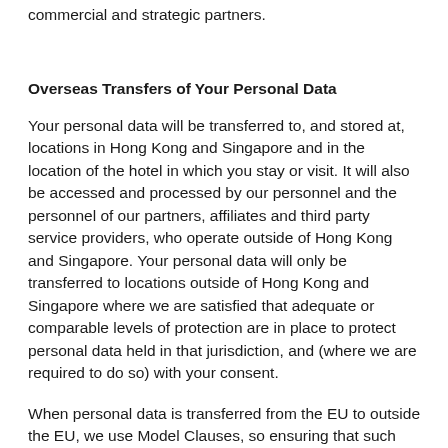commercial and strategic partners.
Overseas Transfers of Your Personal Data
Your personal data will be transferred to, and stored at, locations in Hong Kong and Singapore and in the location of the hotel in which you stay or visit. It will also be accessed and processed by our personnel and the personnel of our partners, affiliates and third party service providers, who operate outside of Hong Kong and Singapore. Your personal data will only be transferred to locations outside of Hong Kong and Singapore where we are satisfied that adequate or comparable levels of protection are in place to protect personal data held in that jurisdiction, and (where we are required to do so) with your consent.
When personal data is transferred from the EU to outside the EU, we use Model Clauses, so ensuring that such data transfers are compliant with applicable privacy...